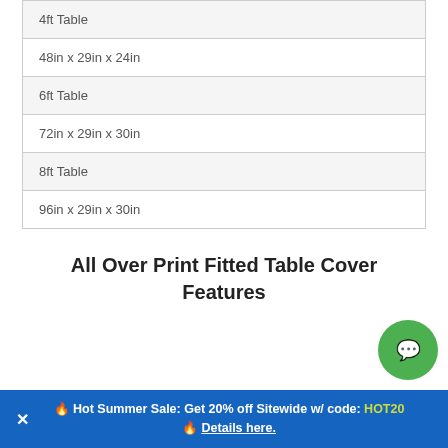| 4ft Table |
| 48in x 29in x 24in |
| 6ft Table |
| 72in x 29in x 30in |
| 8ft Table |
| 96in x 29in x 30in |
All Over Print Fitted Table Cover Features
🔥 Hot Summer Sale: Get 20% off Sitewide w/ code: HOT20 🔥 Details here.